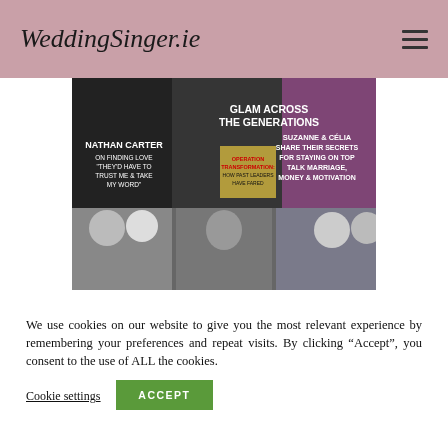WeddingSinger.ie
[Figure (photo): Magazine cover featuring Nathan Carter headline 'On finding love they'd have to trust me & take my word', 'Glam Across the Generations', 'Suzanne & Célia Share Their Secrets For Staying On Top Talk Marriage, Money & Motivation', 'Operation Transformation: How Past Leaders Have Fared'. Lower half shows wedding/event photos of various couples.]
We use cookies on our website to give you the most relevant experience by remembering your preferences and repeat visits. By clicking “Accept”, you consent to the use of ALL the cookies.
Cookie settings
ACCEPT